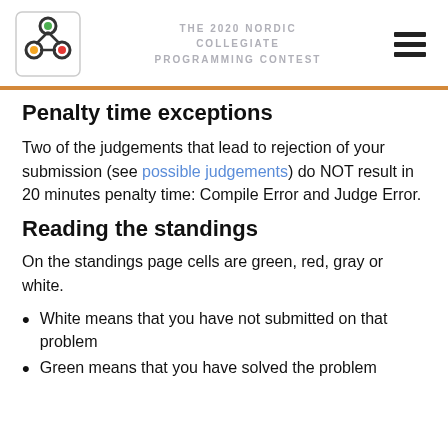THE 2020 NORDIC COLLEGIATE PROGRAMMING CONTEST
Penalty time exceptions
Two of the judgements that lead to rejection of your submission (see possible judgements) do NOT result in 20 minutes penalty time: Compile Error and Judge Error.
Reading the standings
On the standings page cells are green, red, gray or white.
White means that you have not submitted on that problem
Green means that you have solved the problem